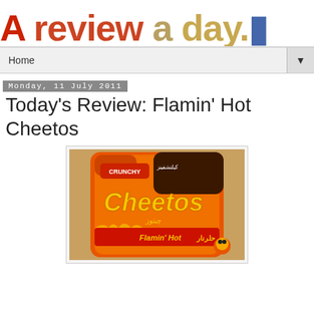A review a day.
Home ▼
Monday, 11 July 2011
Today's Review: Flamin' Hot Cheetos
[Figure (photo): A bag of Flamin' Hot Cheetos (Crunchy) with Arabic text, orange packaging with flame graphics and the Cheetos logo]